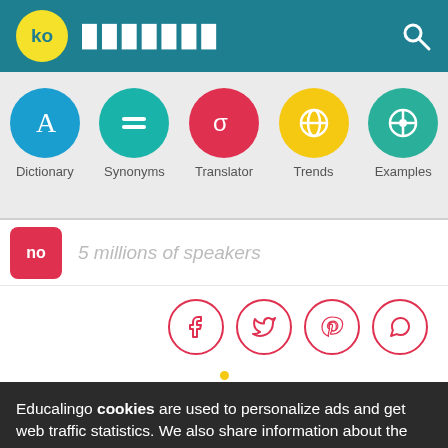ko — Educalingo
[Figure (screenshot): Navigation icon row: Dictionary, Synonyms, Translator, Trends, Examples]
no — 5 millions of speakers
[Figure (infographic): Social sharing icons: Facebook, Twitter, Pinterest, WhatsApp]
Educalingo cookies are used to personalize ads and get web traffic statistics. We also share information about the use of the site with our social media, advertising and analytics partners.
View details  Got it